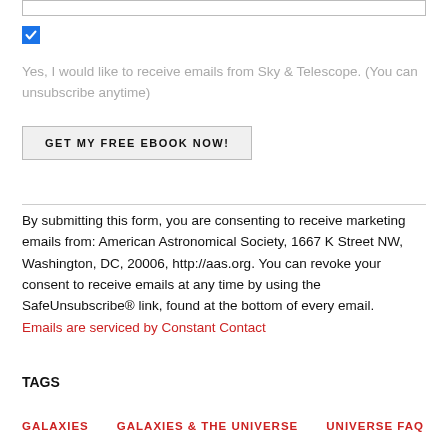[Figure (other): Input field (text box) at top of page]
[Figure (other): Checked blue checkbox]
Yes, I would like to receive emails from Sky & Telescope. (You can unsubscribe anytime)
GET MY FREE EBOOK NOW!
By submitting this form, you are consenting to receive marketing emails from: American Astronomical Society, 1667 K Street NW, Washington, DC, 20006, http://aas.org. You can revoke your consent to receive emails at any time by using the SafeUnsubscribe® link, found at the bottom of every email. Emails are serviced by Constant Contact
TAGS
GALAXIES
GALAXIES & THE UNIVERSE
UNIVERSE FAQ